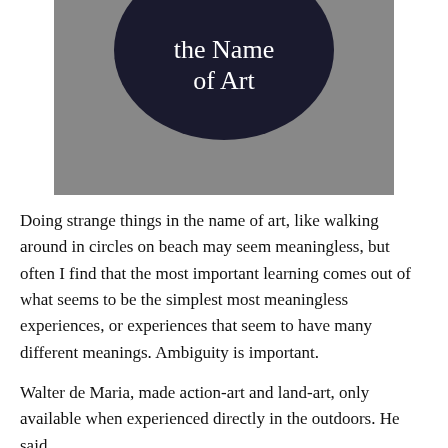[Figure (photo): A photo of a circular button/badge with dark navy background and white text reading 'the Name of Art', resting on a grey textured surface.]
Doing strange things in the name of art, like walking around in circles on beach may seem meaningless, but often I find that the most important learning comes out of what seems to be the simplest most meaningless experiences, or experiences that seem to have many different meanings. Ambiguity is important.
Walter de Maria, made action-art and land-art, only available when experienced directly in the outdoors. He said